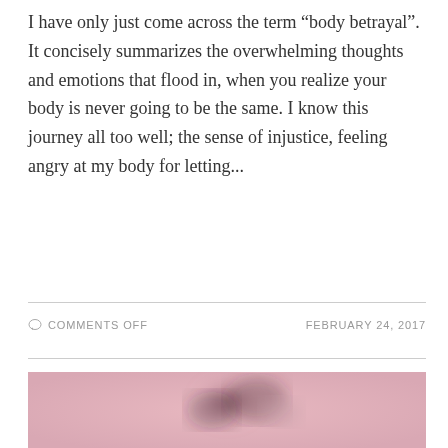I have only just come across the term “body betrayal”. It concisely summarizes the overwhelming thoughts and emotions that flood in, when you realize your body is never going to be the same. I know this journey all too well; the sense of injustice, feeling angry at my body for letting...
COMMENTS OFF   FEBRUARY 24, 2017
[Figure (photo): A blurred close-up photograph with a pink/mauve background showing an indistinct dark blurred subject in the center, possibly a flower or body part, heavily out of focus.]